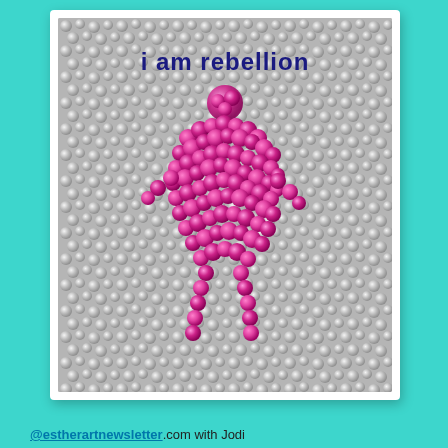[Figure (photo): A greeting card or art piece with a silver sequin/confetti background and a pink sequin heart or human figure silhouette in the center. The text 'i am rebellion' appears in dark blue/navy at the top of the card. The card has a white border and is displayed on a teal/turquoise background.]
@estherartnewsletter.com with Jodi